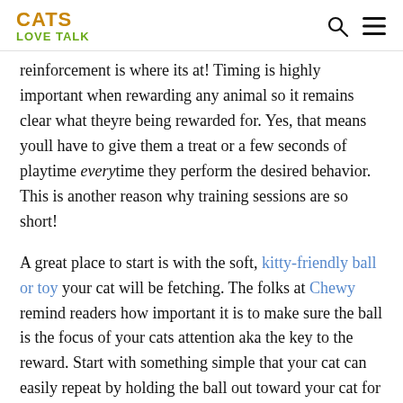CATS LOVE TALK
reinforcement is where its at! Timing is highly important when rewarding any animal so it remains clear what theyre being rewarded for. Yes, that means youll have to give them a treat or a few seconds of playtime every time they perform the desired behavior. This is another reason why training sessions are so short!
A great place to start is with the soft, kitty-friendly ball or toy your cat will be fetching. The folks at Chewy remind readers how important it is to make sure the ball is the focus of your cats attention aka the key to the reward. Start with something simple that your cat can easily repeat by holding the ball out toward your cat for her to sniff or touch. When she does interact with the ball, even sniffing it or getting closer to it, reward her! Repeat this a few times a day until your kitty is comfortable.